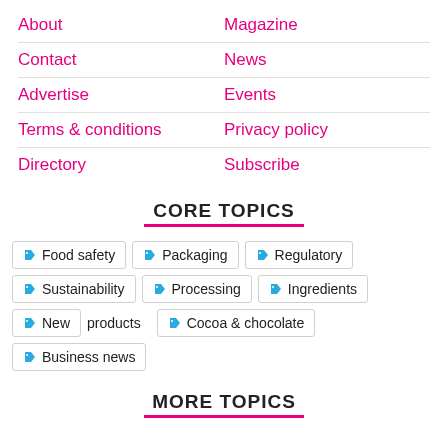About
Magazine
Contact
News
Advertise
Events
Terms & conditions
Privacy policy
Directory
Subscribe
CORE TOPICS
Food safety
Packaging
Regulatory
Sustainability
Processing
Ingredients
New products
Cocoa & chocolate
Business news
MORE TOPICS